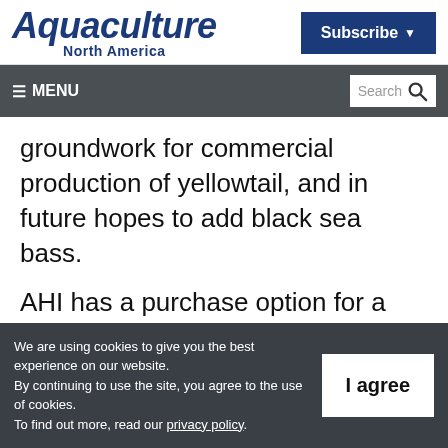Aquaculture North America
Subscribe
≡ MENU  Search
groundwork for commercial production of yellowtail, and in future hopes to add black sea bass.
AHI has a purchase option for a 6.7-acre parcel of land at a former Navy base in Corea (town of Gouldsboro), Maine, where approximately
We are using cookies to give you the best experience on our website.
By continuing to use the site, you agree to the use of cookies.
To find out more, read our privacy policy.
I agree